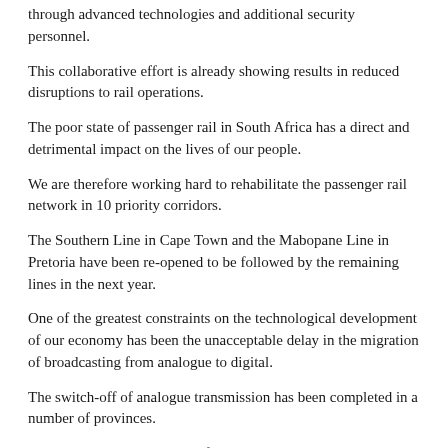through advanced technologies and additional security personnel.
This collaborative effort is already showing results in reduced disruptions to rail operations.
The poor state of passenger rail in South Africa has a direct and detrimental impact on the lives of our people.
We are therefore working hard to rehabilitate the passenger rail network in 10 priority corridors.
The Southern Line in Cape Town and the Mabopane Line in Pretoria have been re-opened to be followed by the remaining lines in the next year.
One of the greatest constraints on the technological development of our economy has been the unacceptable delay in the migration of broadcasting from analogue to digital.
The switch-off of analogue transmission has been completed in a number of provinces.
As I announced in the State of the Nation Address last year, the other provinces will move to digital signal by the end of March 2022.